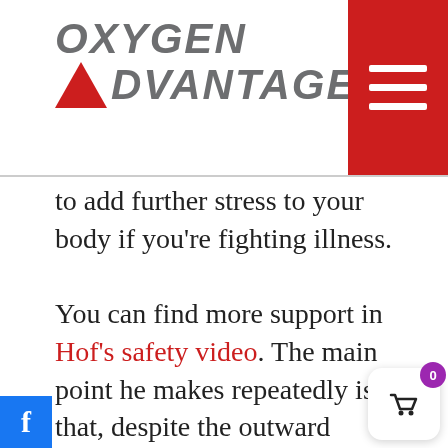[Figure (logo): Oxygen Advantage logo with red triangle and italic gray text]
to add further stress to your body if you're fighting illness.
You can find more support in Hof's safety video. The main point he makes repeatedly is that, despite the outward extremes of his method, you should always listen to your body and go slow.